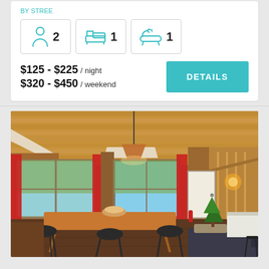BY STREE
[Figure (infographic): Three icon boxes showing: person icon with 2, bed icon with 1, bathtub icon with 1]
$125 - $225 / night
$320 - $450 / weekend
DETAILS
[Figure (photo): Interior of a rustic cabin with wooden ceiling and beams, large windows with red curtains, a dining table with black chairs, a pendant lamp, staircase on the right, small Christmas tree and a couch in the foreground right]